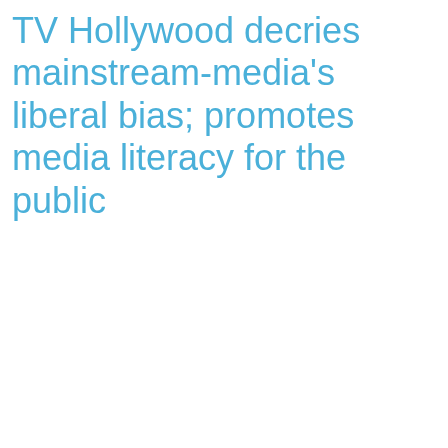TV Hollywood decries mainstream-media's liberal bias; promotes media literacy for the public